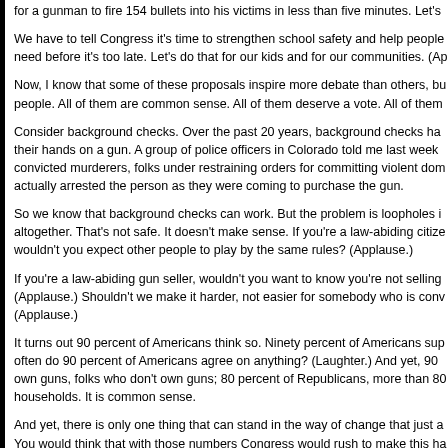for a gunman to fire 154 bullets into his victims in less than five minutes. Let's
We have to tell Congress it's time to strengthen school safety and help people need before it's too late. Let's do that for our kids and for our communities. (Ap
Now, I know that some of these proposals inspire more debate than others, bu people. All of them are common sense. All of them deserve a vote. All of them
Consider background checks. Over the past 20 years, background checks ha their hands on a gun. A group of police officers in Colorado told me last week convicted murderers, folks under restraining orders for committing violent dom actually arrested the person as they were coming to purchase the gun.
So we know that background checks can work. But the problem is loopholes i altogether. That's not safe. It doesn't make sense. If you're a law-abiding citize wouldn't you expect other people to play by the same rules? (Applause.)
If you're a law-abiding gun seller, wouldn't you want to know you're not selling (Applause.) Shouldn't we make it harder, not easier for somebody who is conv (Applause.)
It turns out 90 percent of Americans think so. Ninety percent of Americans sup often do 90 percent of Americans agree on anything? (Laughter.) And yet, 90 own guns, folks who don't own guns; 80 percent of Republicans, more than 80 households. It is common sense.
And yet, there is only one thing that can stand in the way of change that just a You would think that with those numbers Congress would rush to make this ha democracy is working the way it's supposed to, and 90 percent of the America think this would not be a heavy lift.
And yet, some folks back in Washington are already floating the idea that they reforms. Think about that. They're not just saying they'll vote "no" on ideas tha